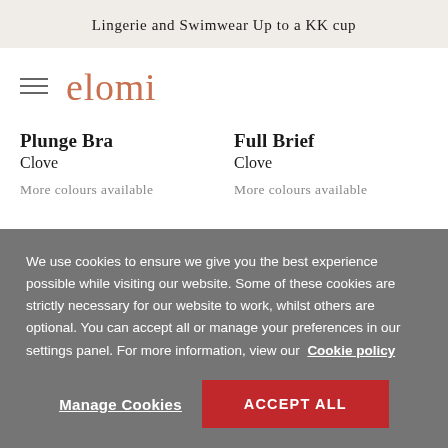Lingerie and Swimwear Up to a KK cup
[Figure (logo): Elomi brand logo with hamburger menu icon]
Plunge Bra
Clove

More colours available
Full Brief
Clove

More colours available
We use cookies to ensure we give you the best experience possible while visiting our website. Some of these cookies are strictly necessary for our website to work, whilst others are optional. You can accept all or manage your preferences in our settings panel. For more information, view our Cookie policy
Manage Cookies
ACCEPT ALL